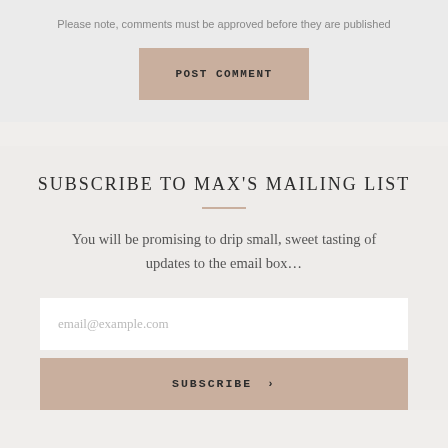Please note, comments must be approved before they are published
POST COMMENT
SUBSCRIBE TO MAX'S MAILING LIST
You will be promising to drip small, sweet tasting of updates to the email box...
email@example.com
SUBSCRIBE >